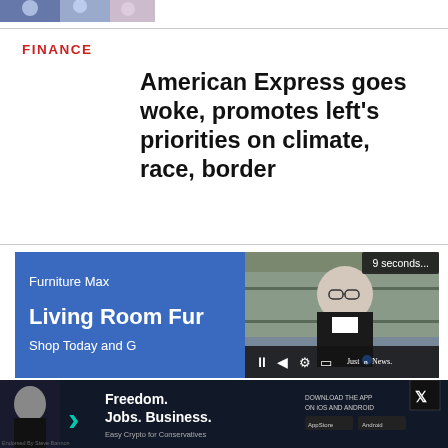[Figure (photo): Partial image of people at top of page, cropped]
FINANCE
American Express goes woke, promotes left's priorities on climate, race, border
[Figure (screenshot): Video advertisement: Furniture Max - Living Room Furniture, Shop Today with video player showing a man speaking, Just The News logo, skip counter showing 9 seconds]
[Figure (screenshot): Banner ad: Freedom. Jobs. Business. Easy Crypto for Conservatives. Download the app on iOS and Android. Endorsed by Steve Bannon. X logo badge.]